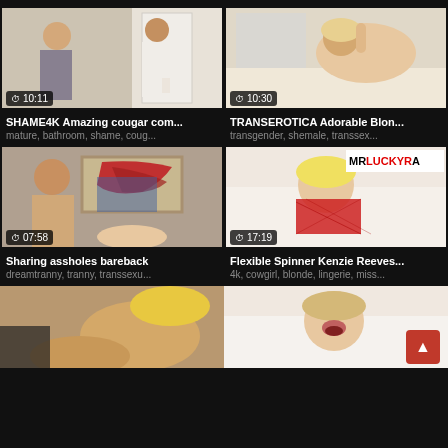[Figure (screenshot): Video thumbnail: two people in a room, duration 10:11]
SHAME4K Amazing cougar com...
mature, bathroom, shame, coug...
[Figure (screenshot): Video thumbnail: blonde woman lying down, duration 10:30]
TRANSEROTICA Adorable Blon...
transgender, shemale, transsex...
[Figure (screenshot): Video thumbnail: two people, artwork in background, duration 07:58]
Sharing assholes bareback
dreamtranny, tranny, transsexu...
[Figure (screenshot): Video thumbnail: blonde woman in red lingerie with MRLUCKYRA watermark, duration 17:19]
Flexible Spinner Kenzie Reeves...
4k, cowgirl, blonde, lingerie, miss...
[Figure (screenshot): Video thumbnail: partially visible, bottom row left]
[Figure (screenshot): Video thumbnail: partially visible, bottom row right]